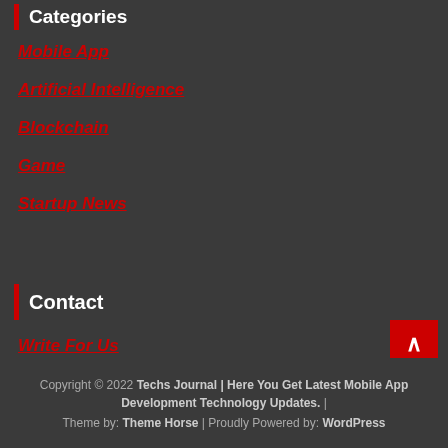Categories
Mobile App
Artificial Intelligence
Blockchain
Game
Startup News
Contact
Write For Us
Copyright © 2022 Techs Journal | Here You Get Latest Mobile App Development Technology Updates.  |  Theme by: Theme Horse  |  Proudly Powered by: WordPress